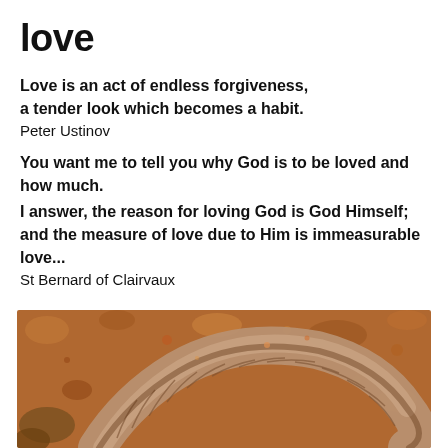love
Love is an act of endless forgiveness, a tender look which becomes a habit.
Peter Ustinov
You want me to tell you why God is to be loved and how much.
I answer, the reason for loving God is God Himself; and the measure of love due to Him is immeasurable love...
St Bernard of Clairvaux
[Figure (photo): Close-up macro photograph of a worm or millipede coiled on reddish-brown soil and debris]